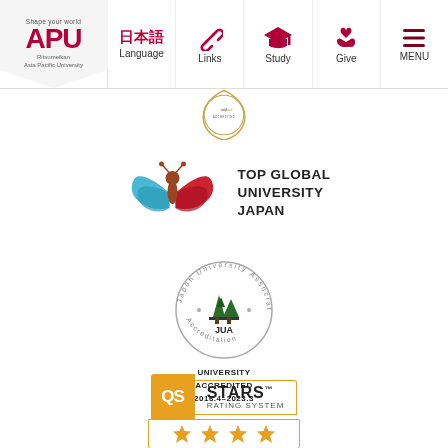[Figure (screenshot): APU (Ritsumeikan Asia Pacific University) website navigation bar with logo, Language (日本語), Links, Study, Give, and MENU items]
[Figure (logo): Partial IEQ/IedQual certification badge (gold/white circular seal, partially visible at top)]
[Figure (logo): Top Global University Japan logo - butterfly shape with blue and red wings, with text 'TOP GLOBAL UNIVERSITY JAPAN']
[Figure (logo): Japan University Accreditation Association (JUA) circular badge with mountain/tree logo, with text 'UNIVERSITY ACCREDITED 2016.4-2023.3']
[Figure (logo): QS Stars Rating System logo with orange QS badge and four gold stars]